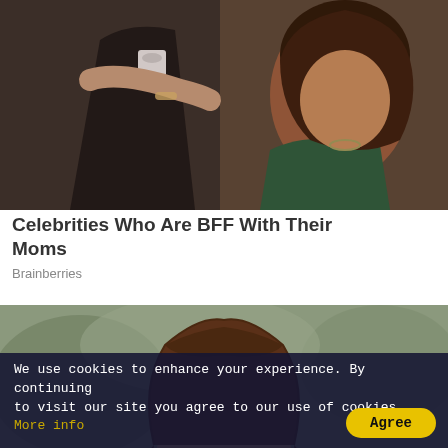[Figure (photo): Two people at a formal event, one in a black tuxedo, the other in a green outfit with dark curly hair, leaning close together]
Celebrities Who Are BFF With Their Moms
Brainberries
[Figure (photo): Young woman with long brown wavy hair and blue eyes, wearing a purple knit scarf, outdoors with blurred greenery background]
We use cookies to enhance your experience. By continuing to visit our site you agree to our use of cookies. More info